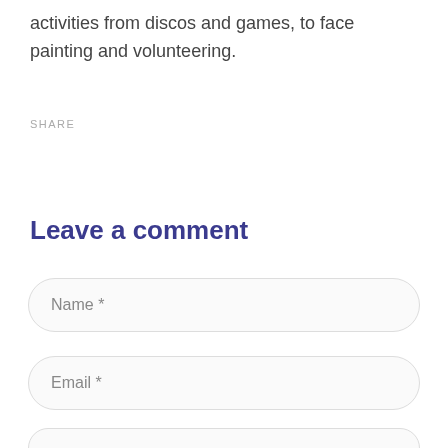activities from discos and games, to face painting and volunteering.
SHARE
Leave a comment
Name *
Email *